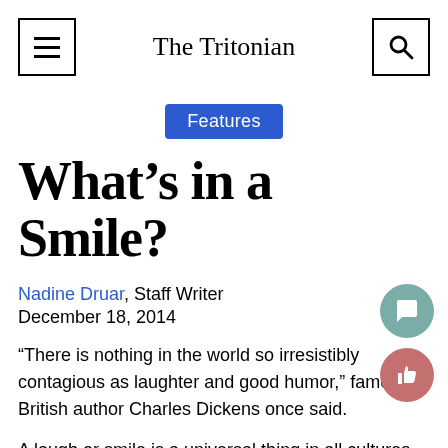The Tritonian
Features
What’s in a Smile?
Nadine Druar, Staff Writer
December 18, 2014
“There is nothing in the world so irresistibly contagious as laughter and good humor,” famed British author Charles Dickens once said.
A laugh or smile is a universal thing in all cultures